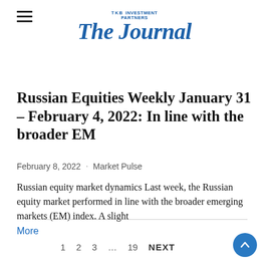TKB INVESTMENT PARTNERS The Journal
Russian Equities Weekly January 31 – February 4, 2022: In line with the broader EM
February 8, 2022 · Market Pulse
Russian equity market dynamics Last week, the Russian equity market performed in line with the broader emerging markets (EM) index. A slight
More